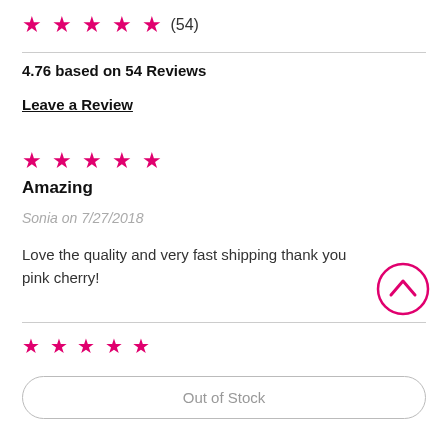★★★★★ (54)
4.76 based on 54 Reviews
Leave a Review
★★★★★
Amazing
Sonia on 7/27/2018
Love the quality and very fast shipping thank you pink cherry!
★★★★★
Out of Stock